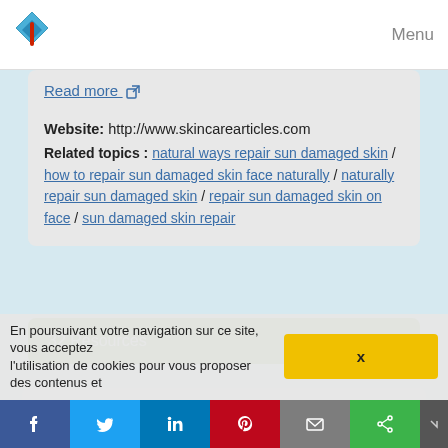Menu
Read more ↗
Website: http://www.skincarearticles.com
Related topics : natural ways repair sun damaged skin / how to repair sun damaged skin face naturally / naturally repair sun damaged skin / repair sun damaged skin on face / sun damaged skin repair
32 Resources
Related topics
home remedies for wrinkles and dark spots
skin treatment for dark spots
En poursuivant votre navigation sur ce site, vous acceptez l'utilisation de cookies pour vous proposer des contenus et
X